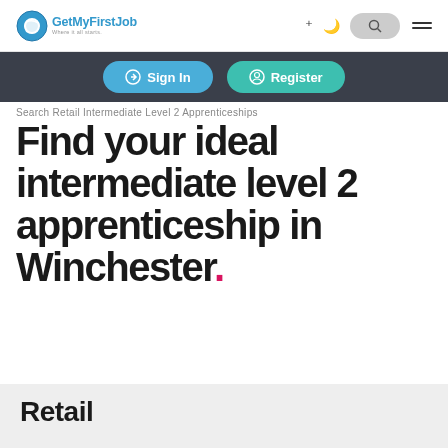GetMyFirstJob - Where it all starts.
Sign In | Register
Search Retail Intermediate Level 2 Apprenticeships
Find your ideal intermediate level 2 apprenticeship in Winchester.
Retail